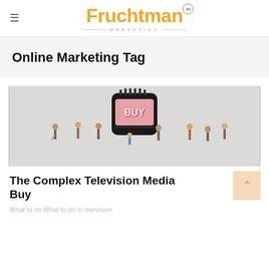Fruchtman Marketing
Online Marketing Tag
[Figure (photo): Miniature figurines of people standing around a small black television/radio device displaying the word BUY on its screen, on a white surface.]
The Complex Television Media Buy
What to do What to do In television